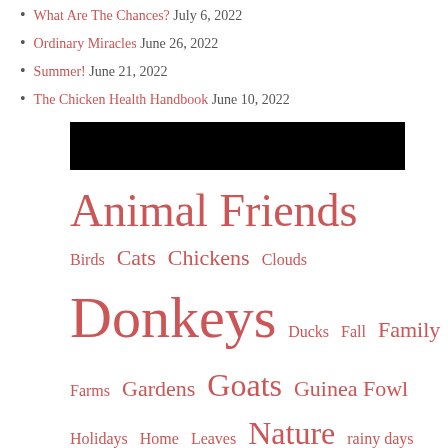What Are The Chances? July 6, 2022
Ordinary Miracles June 26, 2022
Summer! June 21, 2022
The Chicken Health Handbook June 10, 2022
[Figure (other): Black rectangular banner bar]
Animal Friends
Birds  Cats  Chickens  Clouds  Donkeys  Ducks  Fall  Family  Farms  Gardens  Goats  Guinea Fowl  Holidays  Home  Leaves  Nature  rainy days  Roses  Skies  Snow  Spring  Summer  Trees